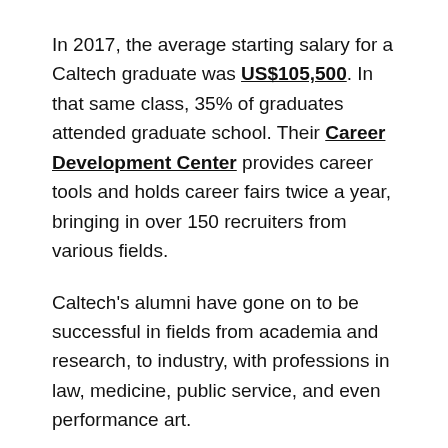In 2017, the average starting salary for a Caltech graduate was US$105,500. In that same class, 35% of graduates attended graduate school. Their Career Development Center provides career tools and holds career fairs twice a year, bringing in over 150 recruiters from various fields.
Caltech's alumni have gone on to be successful in fields from academia and research, to industry, with professions in law, medicine, public service, and even performance art.
Mid-career pay: US$150,300